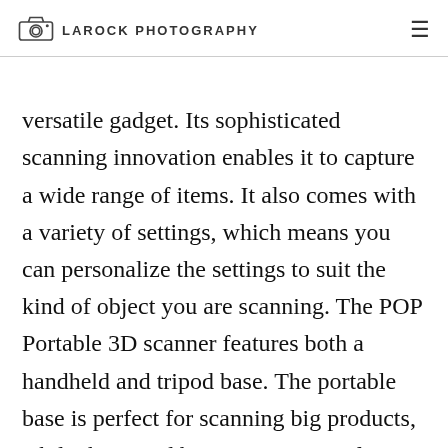LAROCK PHOTOGRAPHY
versatile gadget. Its sophisticated scanning innovation enables it to capture a wide range of items. It also comes with a variety of settings, which means you can personalize the settings to suit the kind of object you are scanning. The POP Portable 3D scanner features both a handheld and tripod base. The portable base is perfect for scanning big products, while the tripod base appropriates for scanning smaller sized objects.